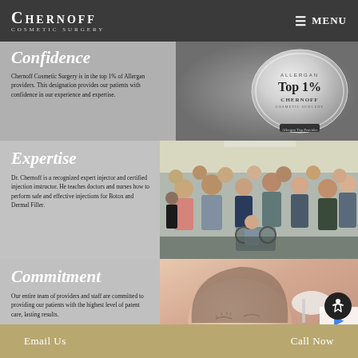CHERNOFF COSMETIC SURGERY  MENU
Confidence
Chernoff Cosmetic Surgery is in the top 1% of Allergan providers. This designation provides our patients with confidence in our experience and expertise.
[Figure (photo): Allergan Top 1% crystal trophy award with Chernoff Cosmetic Surgery label on base]
Expertise
Dr. Chernoff is a recognized expert injector and certified injection instructor. He teaches doctors and nurses how to perform safe and effective injections for Botox and Dermal Filler.
[Figure (photo): Group of doctors and nurses attending an injection training session by Dr. Chernoff]
Commitment
Our entire team of providers and staff are committed to providing our patients with the highest level of patent care, lasting results.
[Figure (photo): Close-up of a patient receiving a facial cosmetic treatment]
Email Us    Call Now